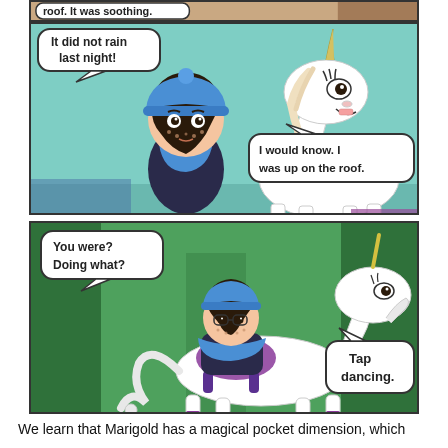[Figure (illustration): Partial comic panel at top showing text 'roof. It was soothing.' with a character partially visible]
[Figure (illustration): Comic panel showing a girl in a blue hat and scarf facing a white unicorn. Speech bubble from girl: 'It did not rain last night!' Speech bubble from unicorn: 'I would know. I was up on the roof.']
[Figure (illustration): Comic panel with green forest background showing a girl riding a white unicorn. Speech bubble from girl: 'You were? Doing what?' Speech bubble from unicorn: 'Tap dancing.']
We learn that Marigold has a magical pocket dimension, which